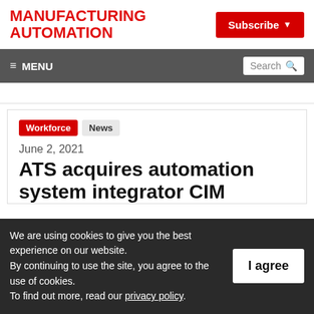MANUFACTURING AUTOMATION
Subscribe
≡ MENU | Search
Workforce  News
June 2, 2021
ATS acquires automation system integrator CIM
We are using cookies to give you the best experience on our website.
By continuing to use the site, you agree to the use of cookies.
To find out more, read our privacy policy.